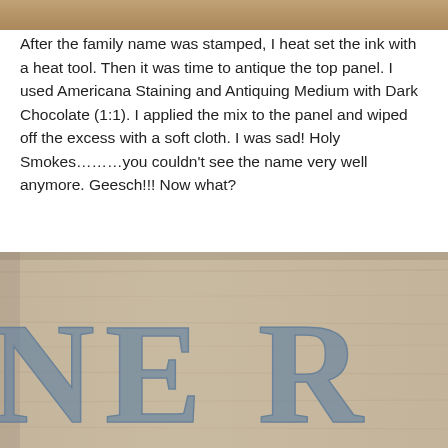[Figure (photo): Top portion of a photo showing warm brown/tan tones, cropped at top of page]
After the family name was stamped, I heat set the ink with a heat tool. Then it was time to antique the top panel. I used Americana Staining and Antiquing Medium with Dark Chocolate (1:1). I applied the mix to the panel and wiped off the excess with a soft cloth. I was sad! Holy Smokes………you couldn't see the name very well anymore. Geesch!!! Now what?
[Figure (photo): Close-up photo of a wooden panel with large decorative stamped letters 'NER' visible in blue/grey ink on a light wood background with antiquing medium applied]